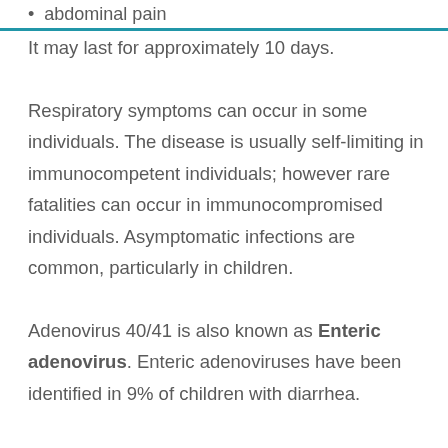abdominal pain
It may last for approximately 10 days. Respiratory symptoms can occur in some individuals. The disease is usually self-limiting in immunocompetent individuals; however rare fatalities can occur in immunocompromised individuals. Asymptomatic infections are common, particularly in children.
Adenovirus 40/41 is also known as Enteric adenovirus. Enteric adenoviruses have been identified in 9% of children with diarrhea. They are the third most common cause of